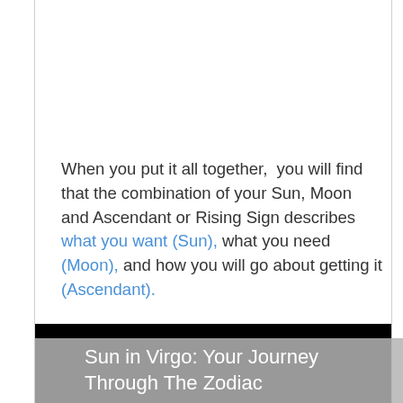When you put it all together,  you will find that the combination of your Sun, Moon and Ascendant or Rising Sign describes what you want (Sun), what you need (Moon), and how you will go about getting it (Ascendant).
Have fun!
Sun in Virgo: Your Journey Through The Zodiac